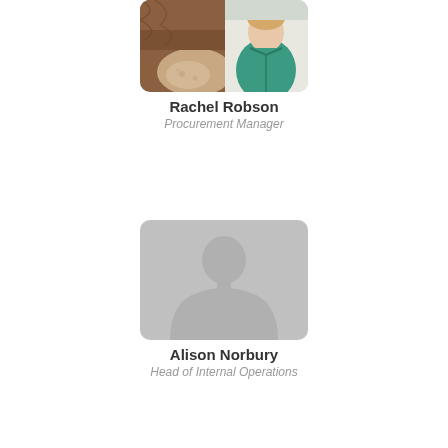[Figure (photo): Photo of Rachel Robson showing a brown horse nose/muzzle close-up on the left and a person in teal/green jacket on the right]
Rachel Robson
Procurement Manager
[Figure (photo): Placeholder silhouette/avatar image with grey background showing a person outline]
Alison Norbury
Head of Internal Operations